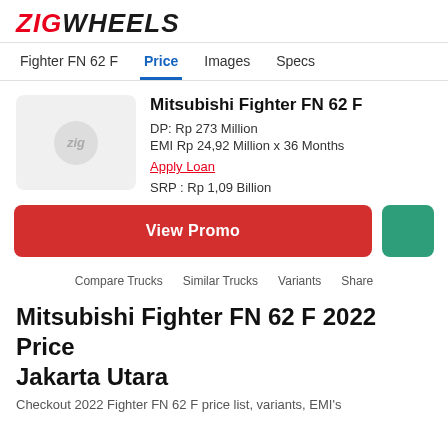ZIGWHEELS
Fighter FN 62 F | Price | Images | Specs
Mitsubishi Fighter FN 62 F
DP: Rp 273 Million
EMI Rp 24,92 Million x 36 Months
Apply Loan
SRP : Rp 1,09 Billion
View Promo
Compare Trucks | Similar Trucks | Variants | Share
Mitsubishi Fighter FN 62 F 2022 Price Jakarta Utara
Checkout 2022 Fighter FN 62 F price list, variants, EMI's